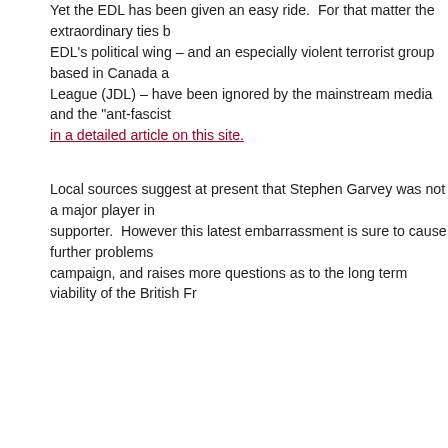Yet the EDL has been given an easy ride. For that matter the extraordinary ties between EDL's political wing – and an especially violent terrorist group based in Canada and the Jewish Defence League (JDL) – have been ignored by the mainstream media and the "ant-fascist" left. [red link text] in a detailed article on this site.
Local sources suggest at present that Stephen Garvey was not a major player in and just a supporter. However this latest embarrassment is sure to cause further problems for his campaign, and raises more questions as to the long term viability of the British Fr...
[Figure (photo): Photo of a man speaking at a microphone at an outdoor rally, holding papers, with an Israeli flag visible behind him and a building in the background.]
Arch-Zionist and EDL deputy leader Kevin Carroll ac... an EDL rally before launching his campaign to be... Commissioner of Bedfordshire.
[Figure (photo): Partial photo visible at the bottom of the page, cropped.]